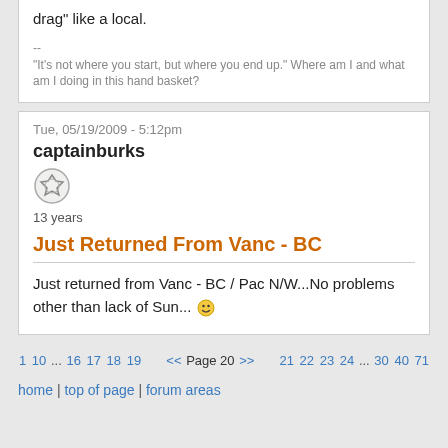drag" like a local.
--
"It's not where you start, but where you end up." Where am I and what am I doing in this hand basket?
Tue, 05/19/2009 - 5:12pm
captainburks
13 years
Just Returned From Vanc - BC
Just returned from Vanc - BC / Pac N/W...No problems other than lack of Sun...
1 10 ... 16 17 18 19   << Page 20 >>   21 22 23 24 ... 30 40 71
home | top of page | forum areas